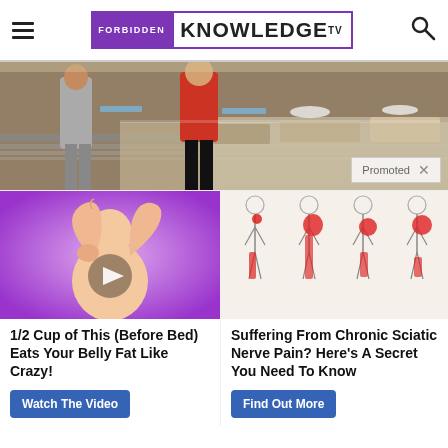FORBIDDEN KNOWLEDGE TV
[Figure (photo): Cafeteria or food serving line scene, people with trays, food behind glass display]
Promoted
[Figure (illustration): Illustration of person scratching back, video play button overlay, purple background]
1/2 Cup of This (Before Bed) Eats Your Belly Fat Like Crazy!
Watch The Video
[Figure (illustration): Medical illustration of human legs/spine showing sciatic nerve pain zones in red]
Suffering From Chronic Sciatic Nerve Pain? Here's A Secret You Need To Know
Find Out More